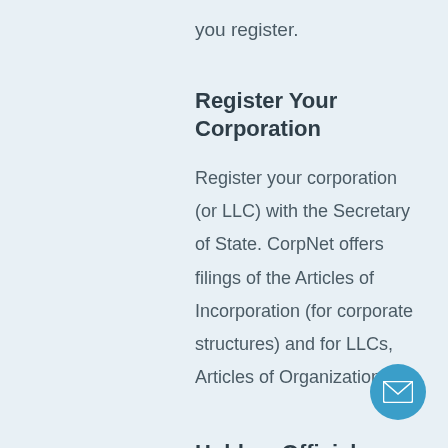you register.
Register Your Corporation
Register your corporation (or LLC) with the Secretary of State. CorpNet offers filings of the Articles of Incorporation (for corporate structures) and for LLCs, Articles of Organization.
Hold an Official
[Figure (illustration): Blue circular button with a white envelope/mail icon]